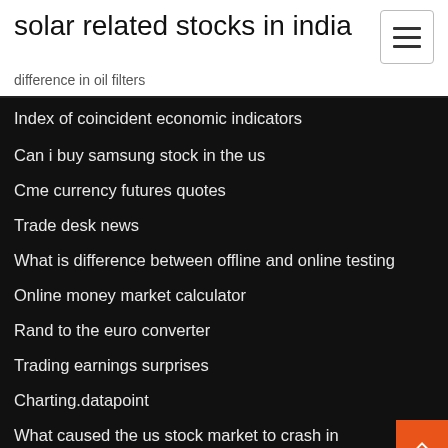solar related stocks in india
difference in oil filters
Index of coincident economic indicators
Can i buy samsung stock in the us
Cme currency futures quotes
Trade desk news
What is difference between offline and online testing
Online money market calculator
Rand to the euro converter
Trading earnings surprises
Charting.datapoint
What caused the us stock market to crash in 1929 brainly